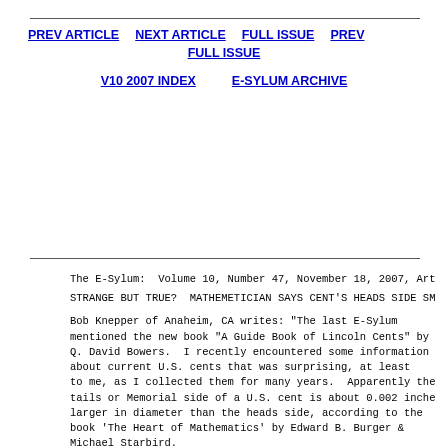PREV ARTICLE   NEXT ARTICLE   FULL ISSUE   PREV FULL ISSUE
V10 2007 INDEX   E-SYLUM ARCHIVE
The E-Sylum:  Volume 10, Number 47, November 18, 2007, Art
STRANGE BUT TRUE?  MATHEMETICIAN SAYS CENT'S HEADS SIDE SM
Bob Knepper of Anaheim, CA writes: "The last E-Sylum mentioned the new book "A Guide Book of Lincoln Cents" by Q. David Bowers.  I recently encountered some information about current U.S. cents that was surprising, at least to me, as I collected them for many years.  Apparently the tails or Memorial side of a U.S. cent is about 0.002 inches larger in diameter than the heads side, according to the book 'The Heart of Mathematics' by Edward B. Burger & Michael Starbird.
"The proof or test is to line up a fairly large number of cents, all face up and tight together, against a ruler and measure their length.  Then alternate heads and tails and measure again.  The alternating tapers will nest together yielding a slightly smaller measurement.  With 30 cents, the difference is only 0.030 = 1/32 inch but I've tried it